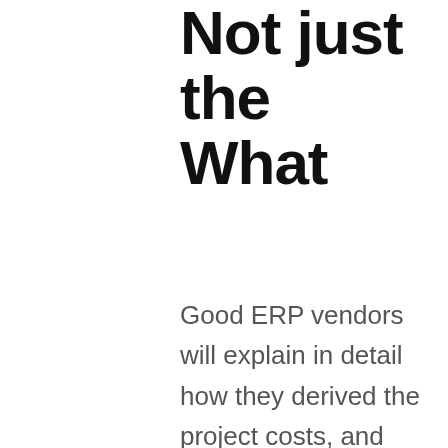Not just the What
Good ERP vendors will explain in detail how they derived the project costs, and even break them down for you. They will also tell you the rationale behind